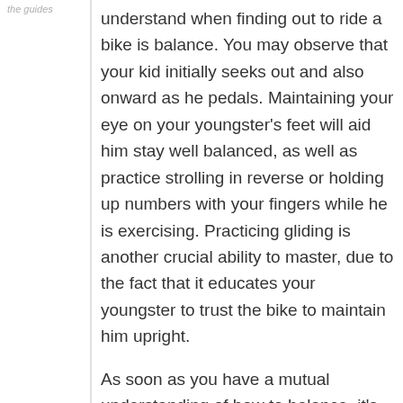the guides
understand when finding out to ride a bike is balance. You may observe that your kid initially seeks out and also onward as he pedals. Maintaining your eye on your youngster's feet will aid him stay well balanced, as well as practice strolling in reverse or holding up numbers with your fingers while he is exercising. Practicing gliding is another crucial ability to master, due to the fact that it educates your youngster to trust the bike to maintain him upright.
As soon as you have a mutual understanding of how to balance, it's time to start riding your bike. Initially, lean the bike to your left side, with one foot planted securely on the ground